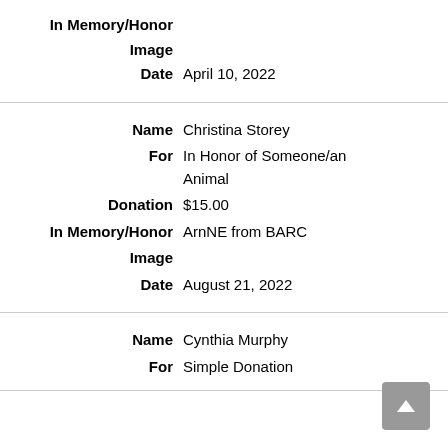| In Memory/Honor |  |
| Image |  |
| Date | April 10, 2022 |
| Name | Christina Storey |
| For | In Honor of Someone/an Animal |
| Donation | $15.00 |
| In Memory/Honor | ArnNE from BARC |
| Image |  |
| Date | August 21, 2022 |
| Name | Cynthia Murphy |
| For | Simple Donation |